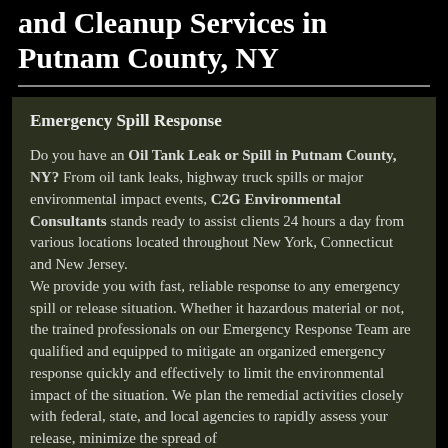and Cleanup Services in Putnam County, NY
Emergency Spill Response
Do you have an Oil Tank Leak or Spill in Putnam County, NY? From oil tank leaks, highway truck spills or major environmental impact events, C2G Environmental Consultants stands ready to assist clients 24 hours a day from various locations located throughout New York, Connecticut and New Jersey.
We provide you with fast, reliable response to any emergency spill or release situation. Whether it hazardous material or not, the trained professionals on our Emergency Response Team are qualified and equipped to mitigate an organized emergency response quickly and effectively to limit the environmental impact of the situation. We plan the remedial activities closely with federal, state, and local agencies to rapidly assess your release, minimize the spread of